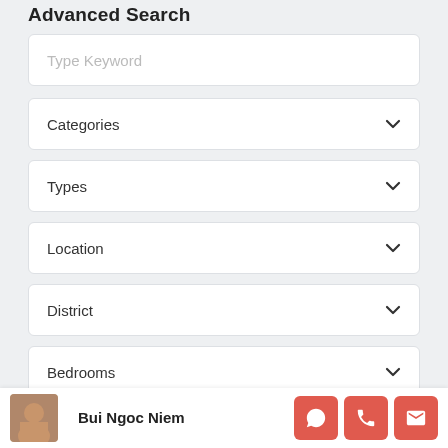Advanced Search
Type Keyword
Categories
Types
Location
District
Bedrooms
Bathrooms
Bui Ngoc Niem